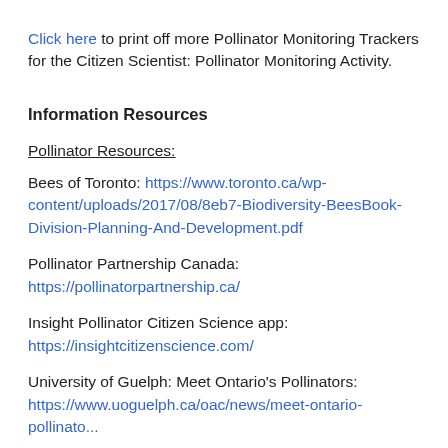Click here to print off more Pollinator Monitoring Trackers for the Citizen Scientist: Pollinator Monitoring Activity.
Information Resources
Pollinator Resources:
Bees of Toronto: https://www.toronto.ca/wp-content/uploads/2017/08/8eb7-Biodiversity-BeesBook-Division-Planning-And-Development.pdf
Pollinator Partnership Canada: https://pollinatorpartnership.ca/
Insight Pollinator Citizen Science app: https://insightcitizenscience.com/
University of Guelph: Meet Ontario's Pollinators: https://www.uoguelph.ca/oac/news/meet-ontario-pollinators